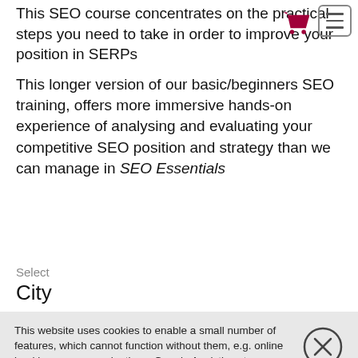This SEO course concentrates on the practical steps you need to take in order to improve your position in SERPs
This longer version of our basic/beginners SEO training, offers more immersive hands-on experience of analysing and evaluating your competitive SEO position and strategy than we can manage in SEO Essentials
[Figure (illustration): Shopping cart icon (dark red/maroon) and hamburger menu icon (bordered rectangle with three lines)]
Select
City
This website uses cookies to enable a small number of features, which cannot function without them, e.g. online booking, course evaluations, Google Analytics,etc.
By using the site, you give us permission to set cookies. But you can browse its entire content without allowing them in your browser.
[Figure (illustration): Close button: circle with X inside]